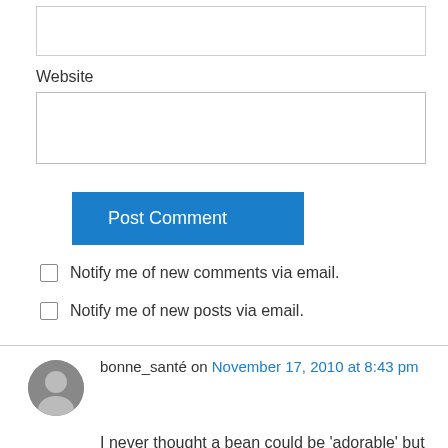Website
Post Comment
Notify me of new comments via email.
Notify me of new posts via email.
bonne_santé on November 17, 2010 at 8:43 pm
I never thought a bean could be 'adorable' but those Pony Beans are too much!